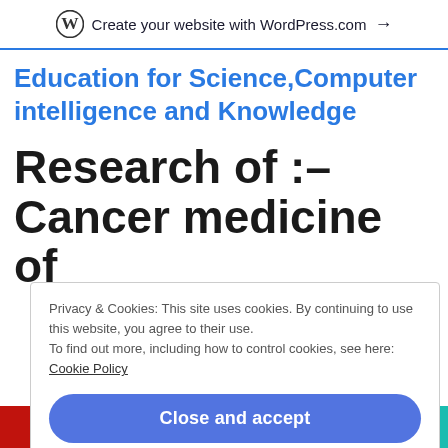Create your website with WordPress.com →
Education for Science,Computer intelligence and Knowledge
Research of :–
Cancer medicine of
Privacy & Cookies: This site uses cookies. By continuing to use this website, you agree to their use.
To find out more, including how to control cookies, see here:
Cookie Policy
Close and accept
[Figure (screenshot): Bottom image bar with 'RAVENOUS' text on red background on left, and 'THE' text on teal background on right]